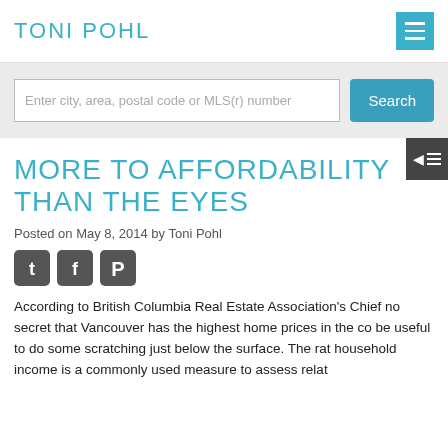TONI POHL
Enter city, area, postal code or MLS(r) number
MORE TO AFFORDABILITY THAN THE EYES
Posted on May 8, 2014 by Toni Pohl
[Figure (other): Social media share icons: Twitter, Facebook, Pinterest]
According to British Columbia Real Estate Association's Chief no secret that Vancouver has the highest home prices in the co be useful to do some scratching just below the surface. The rat household income is a commonly used measure to assess relat